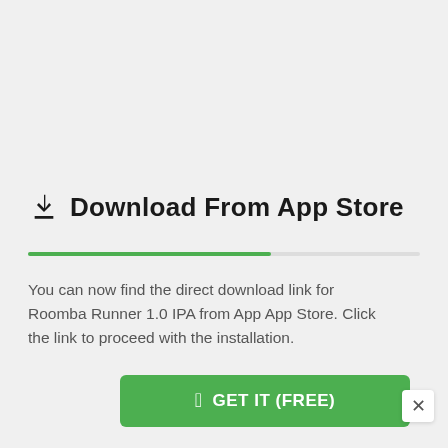Download From App Store
You can now find the direct download link for Roomba Runner 1.0 IPA from App App Store. Click the link to proceed with the installation.
[Figure (other): Green button labeled 'GET IT (FREE)' with Apple logo icon]